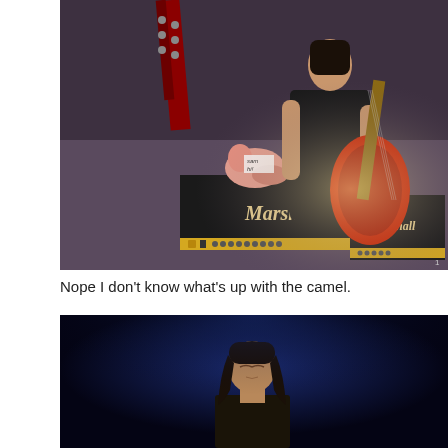[Figure (photo): Concert photo showing a guitarist in a sleeveless shirt playing a red electric guitar on stage, with Marshall amplifiers visible and a small stuffed animal/toy (labeled 'sam hi!') sitting on top of one of the Marshall amps. Another guitarist is partially visible on the right side.]
Nope I don't know what's up with the camel.
[Figure (photo): Concert photo of a long-haired Asian musician on stage with eyes closed or looking upward, dark blue background lighting.]